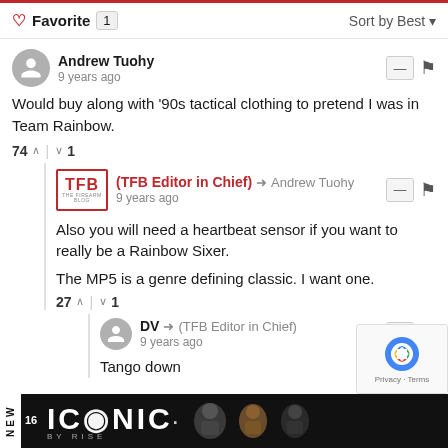Favorite 1 | Sort by Best
Andrew Tuohy
9 years ago
Would buy along with '90s tactical clothing to pretend I was in Team Rainbow.
74 ^ | v 1
(TFB Editor in Chief) → Andrew Tuohy
9 years ago
Also you will need a heartbeat sensor if you want to really be a Rainbow Sixer.

The MP5 is a genre defining classic. I want one.
27 ^ | v 1
DV → (TFB Editor in Chief)
9 years ago
Tango down
16